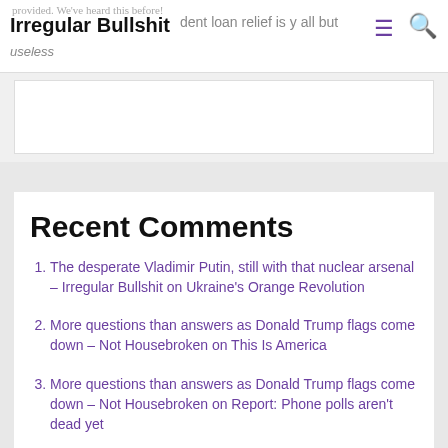Irregular Bullshit
Recent Comments
The desperate Vladimir Putin, still with that nuclear arsenal – Irregular Bullshit on Ukraine's Orange Revolution
More questions than answers as Donald Trump flags come down – Not Housebroken on This Is America
More questions than answers as Donald Trump flags come down – Not Housebroken on Report: Phone polls aren't dead yet